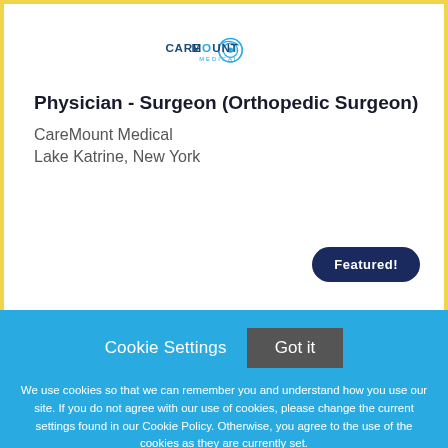[Figure (logo): CareMount Medical logo with circular medical cross symbol in teal/blue]
Physician - Surgeon (Orthopedic Surgeon)
CareMount Medical
Lake Katrine, New York
Featured!
Cookie Settings
Got it
We use cookies so that we can remember you and understand how you use our site. If you do not agree with our use of cookies, please change the current settings found in our Cookie Policy. Otherwise, you agree to the use of the cookies as they are currently set.